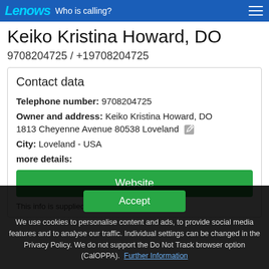Lenows — Who is calling?
Keiko Kristina Howard, DO
9708204725 / +19708204725
Contact data
Telephone number: 9708204725
Owner and address: Keiko Kristina Howard, DO 1813 Cheyenne Avenue 80538 Loveland
City: Loveland - USA
more details:
Website
This info is supplied without liability.
Accept
We use cookies to personalise content and ads, to provide social media features and to analyse our traffic. Individual settings can be changed in the Privacy Policy. We do not support the Do Not Track browser option (CalOPPA). Further Information